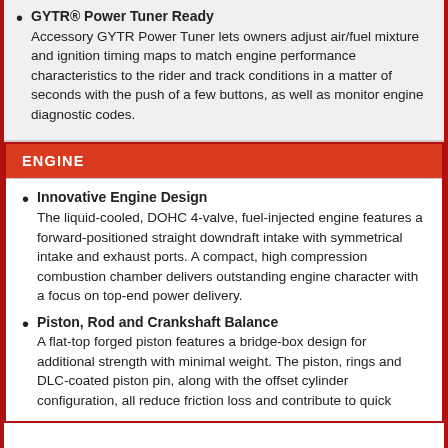GYTR® Power Tuner Ready
Accessory GYTR Power Tuner lets owners adjust air/fuel mixture and ignition timing maps to match engine performance characteristics to the rider and track conditions in a matter of seconds with the push of a few buttons, as well as monitor engine diagnostic codes.
ENGINE
Innovative Engine Design
The liquid-cooled, DOHC 4-valve, fuel-injected engine features a forward-positioned straight downdraft intake with symmetrical intake and exhaust ports. A compact, high compression combustion chamber delivers outstanding engine character with a focus on top-end power delivery.
Piston, Rod and Crankshaft Balance
A flat-top forged piston features a bridge-box design for additional strength with minimal weight. The piston, rings and DLC-coated piston pin, along with the offset cylinder configuration, all reduce friction loss and contribute to quick...